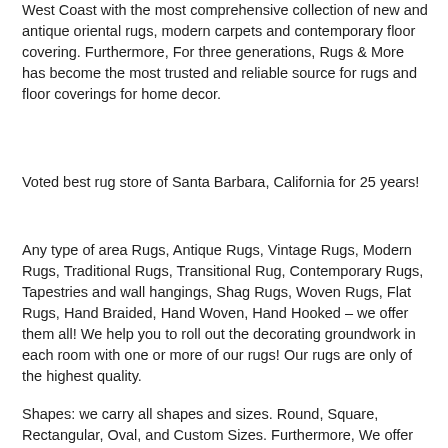West Coast with the most comprehensive collection of new and antique oriental rugs, modern carpets and contemporary floor covering. Furthermore, For three generations, Rugs & More has become the most trusted and reliable source for rugs and floor coverings for home decor.
Voted best rug store of Santa Barbara, California for 25 years!
Any type of area Rugs, Antique Rugs, Vintage Rugs, Modern Rugs, Traditional Rugs, Transitional Rug, Contemporary Rugs, Tapestries and wall hangings, Shag Rugs, Woven Rugs, Flat Rugs, Hand Braided, Hand Woven, Hand Hooked – we offer them all! We help you to roll out the decorating groundwork in each room with one or more of our rugs! Our rugs are only of the highest quality.
Shapes: we carry all shapes and sizes. Round, Square, Rectangular, Oval, and Custom Sizes. Furthermore, We offer